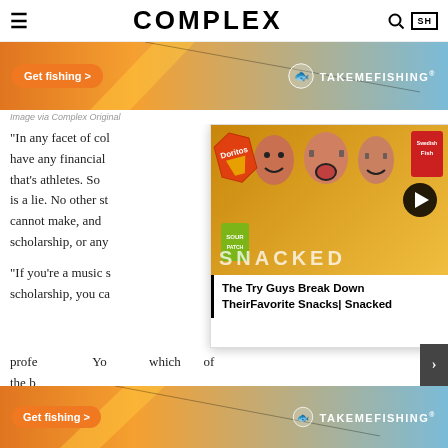COMPLEX
[Figure (photo): TakeMeFishing advertisement banner with woman fishing and orange button 'Get fishing >']
Image via Complex Original
"In any facet of col... have any financial... that's athletes. So... is a lie. No other st... cannot make, and... scholarship, or any...
[Figure (screenshot): Video card overlay: The Try Guys Break Down Their Favorite Snacks | Snacked, with Doritos, Sour Patch Kids, Swedish Fish bags and three people]
"If you're a music s... scholarship, you ca... profe... Yo... which... of the b...
[Figure (photo): TakeMeFishing advertisement banner bottom, same as top banner]